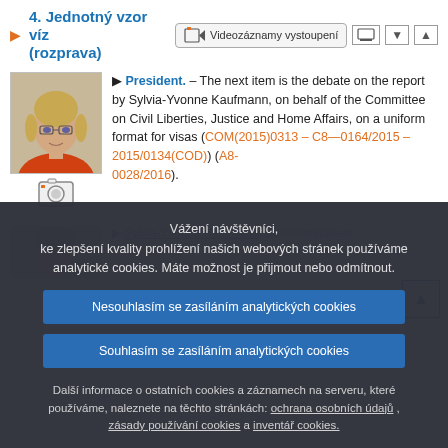4. Jednotný vzor víz (rozprava)
President. – The next item is the debate on the report by Sylvia-Yvonne Kaufmann, on behalf of the Committee on Civil Liberties, Justice and Home Affairs, on a uniform format for visas (COM(2015)0313 – C8—0164/2015 – 2015/0134(COD)) (A8-0028/2016).
Sylvia-Yvonne Kaufmann. Berichterstatterin.
Vážení návštěvníci,
ke zlepšení kvality prohlížení našich webových stránek používáme analytické cookies. Máte možnost je přijmout nebo odmítnout.
Nesouhlasím se zasíláním analytických cookies
Souhlasím se zasíláním analytických cookies
Další informace o ostatních cookies a záznamech na serveru, které používáme, naleznete na těchto stránkách: ochrana osobních údajů , zásady používání cookies a inventář cookies.